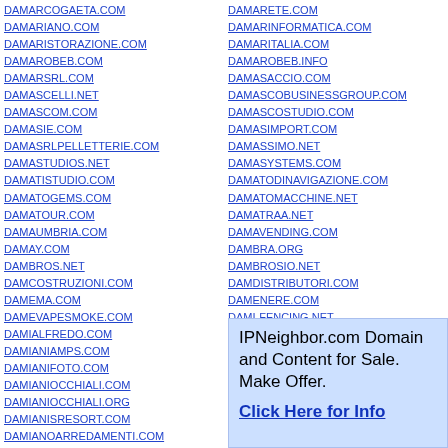DAMARCOGAETA.COM
DAMARIANO.COM
DAMARISTORAZIONE.COM
DAMAROBEB.COM
DAMARSRL.COM
DAMASCELLI.NET
DAMASCOM.COM
DAMASIE.COM
DAMASRLPELLETTERIE.COM
DAMASTUDIOS.NET
DAMATISTUDIO.COM
DAMATOGEMS.COM
DAMATOUR.COM
DAMAUMBRIA.COM
DAMAY.COM
DAMBROS.NET
DAMCOSTRUZIONI.COM
DAMEMA.COM
DAMEVAPESMOKE.COM
DAMIALFREDO.COM
DAMIANIAMPS.COM
DAMIANIFOTO.COM
DAMIANIOCCHIALI.COM
DAMIANIOCCHIALI.ORG
DAMIANISRESORT.COM
DAMIANOARREDAMENTI.COM
DAMIANOCARLINO.COM
DAMIANOCORALLUZZO.INFO
DAMARETE.COM
DAMARINFORMATICA.COM
DAMARITALIA.COM
DAMAROBEB.INFO
DAMASACCIO.COM
DAMASCOBUSINESSGROUP.COM
DAMASCOSTUDIO.COM
DAMASIMPORT.COM
DAMASSIMO.NET
DAMASYSTEMS.COM
DAMATODINAVIGAZIONE.COM
DAMATOMACCHINE.NET
DAMATRAA.NET
DAMAVENDING.COM
DAMBRA.ORG
DAMBROSIO.NET
DAMDISTRIBUTORI.COM
DAMENERE.COM
DAMI-FENCING.NET
DAMIANADEGAUDENZI.COM
DAMIANICAFFE.COM
DAMIANIMACCHINEAGRICOLE.COM
DAMIANIOCCHIALI.INFO
DAMIANIOCCHIALI.US
IPNeighbor.com Domain and Content for Sale. Make Offer. Click Here for Info